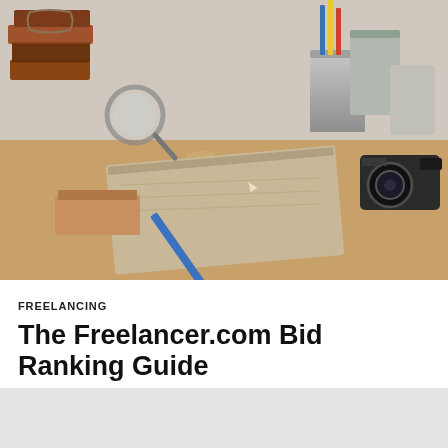[Figure (photo): Desk scene with books, pencil, notebook, magnifying glass, tin cans, and a vintage camera on a wooden surface]
FREELANCING
The Freelancer.com Bid Ranking Guide
by deHaaas - 10 April, 2016
Find out which factors affect your Freelancer.com ranking, and learn how to improve your visibility.
♡ 2049   💬 8479